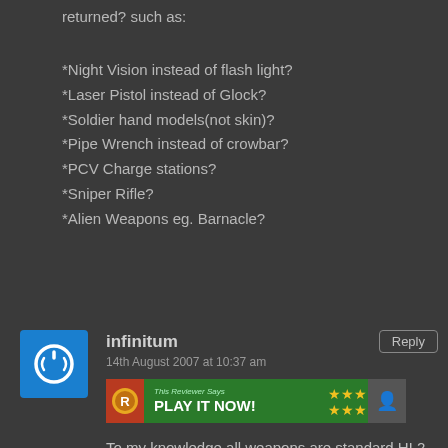returned? such as:
*Night Vision instead of flash light?
*Laser Pistol instead of Glock?
*Soldier hand models(not skin)?
*Pipe Wrench instead of crowbar?
*PCV Charge stations?
*Sniper Rifle?
*Alien Weapons eg. Barnacle?
infinitum
14th August 2007 at 10:37 am
[Figure (infographic): Green banner ad: This Reviewer Says PLAY IT NOW! with stars rating]
To my knowledge all weapons are standard HL2 fare, no custom models.I was impressed by the minor edits though,